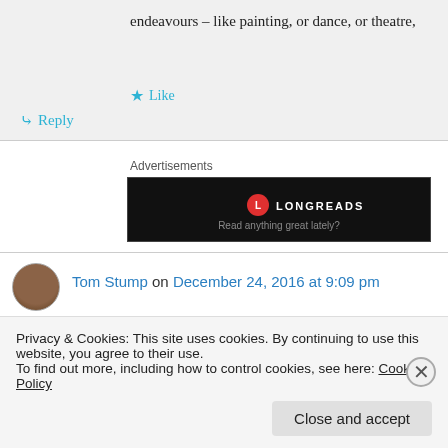endeavours – like painting, or dance, or theatre,
Like
Reply
Advertisements
[Figure (other): Longreads advertisement banner with black background, red circular logo with L, text LONGREADS, and tagline Read anything great lately?]
Tom Stump on December 24, 2016 at 9:09 pm
Privacy & Cookies: This site uses cookies. By continuing to use this website, you agree to their use.
To find out more, including how to control cookies, see here: Cookie Policy